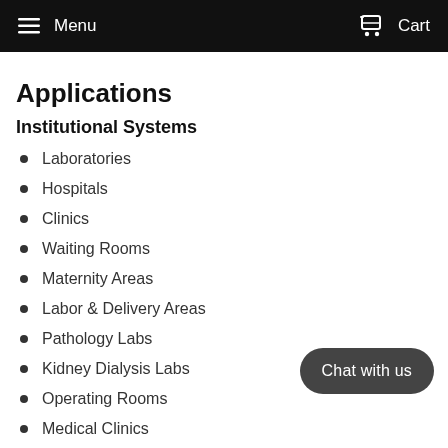Menu   Cart
Applications
Institutional Systems
Laboratories
Hospitals
Clinics
Waiting Rooms
Maternity Areas
Labor & Delivery Areas
Pathology Labs
Kidney Dialysis Labs
Operating Rooms
Medical Clinics
TrustedSite
Chat with us